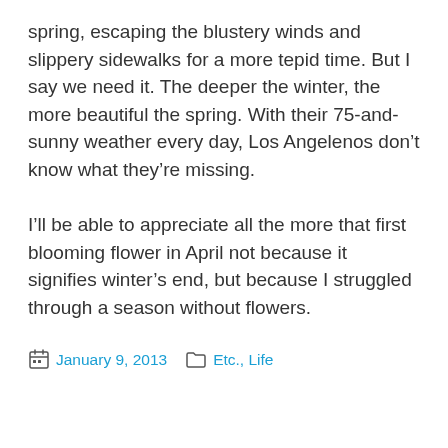spring, escaping the blustery winds and slippery sidewalks for a more tepid time. But I say we need it. The deeper the winter, the more beautiful the spring. With their 75-and-sunny weather every day, Los Angelenos don't know what they're missing.
I'll be able to appreciate all the more that first blooming flower in April not because it signifies winter's end, but because I struggled through a season without flowers.
January 9, 2013   Etc., Life